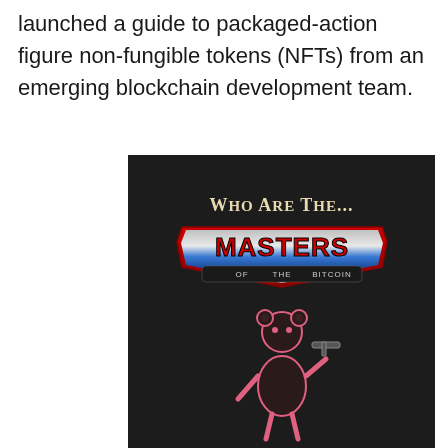A renowned metaverse branding agency has launched a guide to packaged-action figure non-fungible tokens (NFTs) from an emerging blockchain development team.
[Figure (photo): A dark t-shirt with 'Who Are The... Masters of the Bitcoin' text and logo styled after Masters of the Universe, along with a bear figure holding a weapon.]